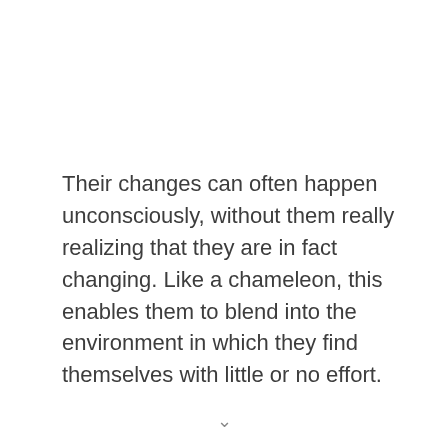Their changes can often happen unconsciously, without them really realizing that they are in fact changing. Like a chameleon, this enables them to blend into the environment in which they find themselves with little or no effort.